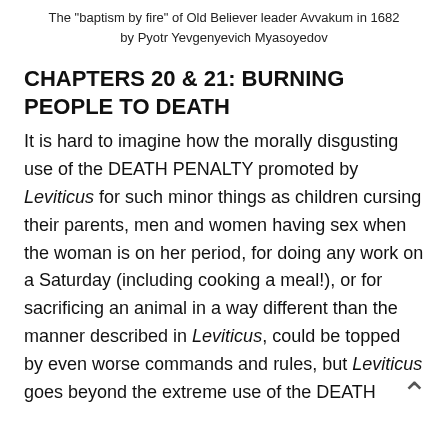The "baptism by fire" of Old Believer leader Avvakum in 1682 by Pyotr Yevgenyevich Myasoyedov
CHAPTERS 20 & 21: BURNING PEOPLE TO DEATH
It is hard to imagine how the morally disgusting use of the DEATH PENALTY promoted by Leviticus for such minor things as children cursing their parents, men and women having sex when the woman is on her period, for doing any work on a Saturday (including cooking a meal!), or for sacrificing an animal in a way different than the manner described in Leviticus, could be topped by even worse commands and rules, but Leviticus goes beyond the extreme use of the DEATH